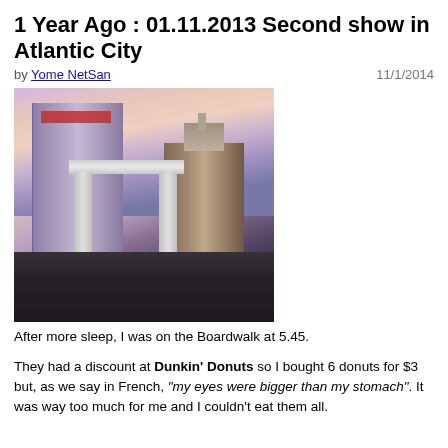1 Year Ago : 01.11.2013 Second show in Atlantic City
by Yome NetSan   11/1/2014
[Figure (photo): Photo of Atlantic City buildings including a tall glass skyscraper and a historic brick hotel tower at dusk/dawn with pink and purple sky, and a white columned archway structure in the foreground.]
After more sleep, I was on the Boardwalk at 5.45.
They had a discount at Dunkin' Donuts so I bought 6 donuts for $3 but, as we say in French, "my eyes were bigger than my stomach". It was way too much for me and I couldn't eat them all.